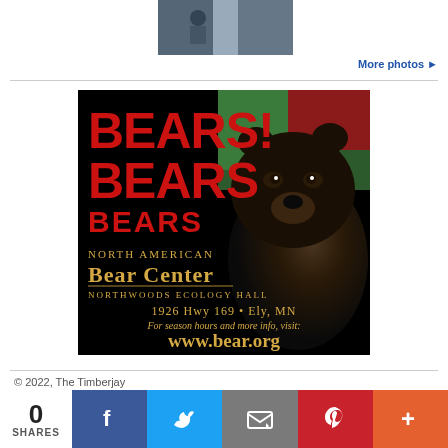[Figure (photo): Small thumbnail photo in upper area, partially cropped]
More photos ▶
[Figure (illustration): Advertisement for North American Bear Center. Black background with large black bear photo on right. Red bold text 'BEARS! BEARS BEARS' on left. Gold text: North American Bear Center, Northwoods Ecology Hall, 1926 Hwy 169 • Ely, MN, For season hours and more info, visit: www.bear.org]
© 2022, The Timberjay
0 SHARES
f (Facebook share button)
Twitter share button
Email share button
Pinterest share button
+ More share button